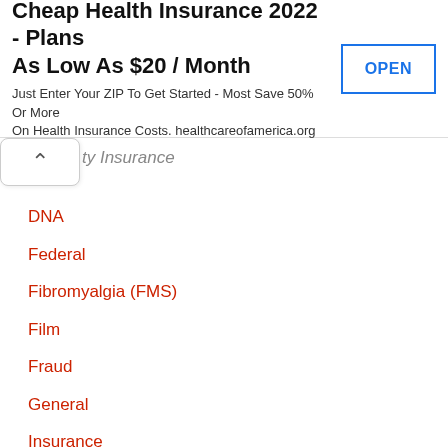[Figure (screenshot): Advertisement banner: Cheap Health Insurance 2022 - Plans As Low As $20 / Month with OPEN button]
ty Insurance (partial navigation label with chevron)
DNA
Federal
Fibromyalgia (FMS)
Film
Fraud
General
Insurance
Insurance Claims
Insurance Companies
Medical Issues
Orthopedic
Parkinson